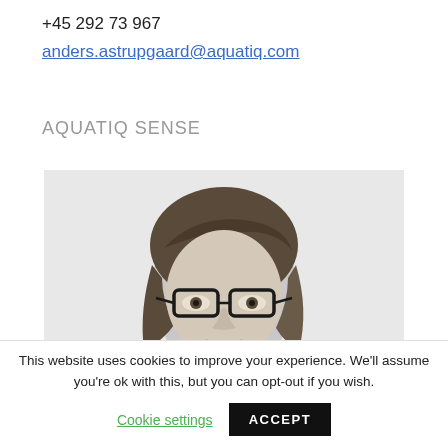+45 292 73 967
anders.astrupgaard@aquatiq.com
AQUATIQ SENSE
[Figure (photo): Black and white headshot of a woman with glasses and shoulder-length hair, smiling, on a light grey background.]
This website uses cookies to improve your experience. We'll assume you're ok with this, but you can opt-out if you wish.
Cookie settings
ACCEPT